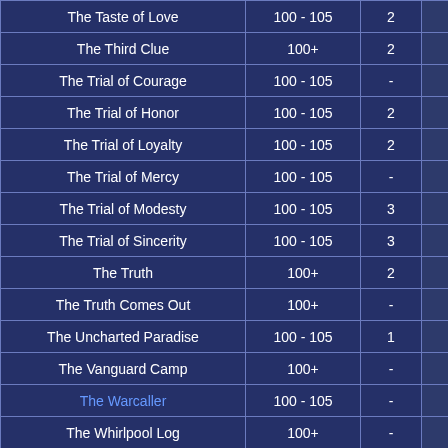| Name | Level | # |  |
| --- | --- | --- | --- |
| The Taste of Love | 100 - 105 | 2 |  |
| The Third Clue | 100+ | 2 |  |
| The Trial of Courage | 100 - 105 | - |  |
| The Trial of Honor | 100 - 105 | 2 |  |
| The Trial of Loyalty | 100 - 105 | 2 |  |
| The Trial of Mercy | 100 - 105 | - |  |
| The Trial of Modesty | 100 - 105 | 3 |  |
| The Trial of Sincerity | 100 - 105 | 3 |  |
| The Truth | 100+ | 2 |  |
| The Truth Comes Out | 100+ | - |  |
| The Uncharted Paradise | 100 - 105 | 1 |  |
| The Vanguard Camp | 100+ | - |  |
| The Warcaller | 100 - 105 | - |  |
| The Whirlpool Log | 100+ | - |  |
| Thursday Night Fights | 100 - 105 | 1 |  |
| Tideswell Falls No More | 100+ | 4 |  |
| Tiger Claw | 100+ | - |  |
| To Dawnlight Temple (LV100+) | 100 - 105 | - |  |
| To Dusk Palace | 100+ | - |  |